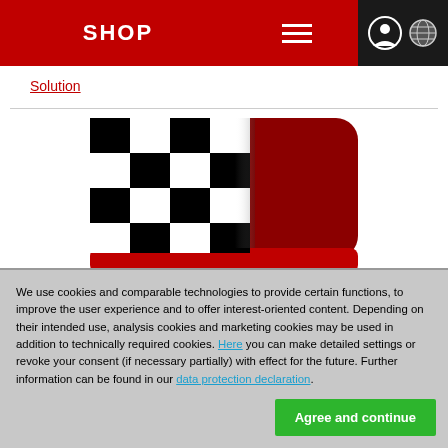SHOP
Solution
[Figure (logo): Checkered flag pattern logo with black and white squares on the left and dark red rounded rectangle on the right, with a red bottom strip]
We use cookies and comparable technologies to provide certain functions, to improve the user experience and to offer interest-oriented content. Depending on their intended use, analysis cookies and marketing cookies may be used in addition to technically required cookies. Here you can make detailed settings or revoke your consent (if necessary partially) with effect for the future. Further information can be found in our data protection declaration.